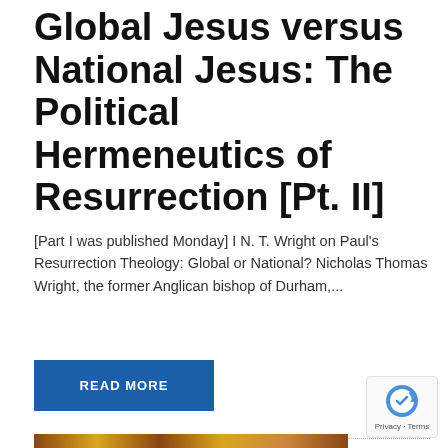Global Jesus versus National Jesus: The Political Hermeneutics of Resurrection [Pt. II]
[Part I was published Monday] I N. T. Wright on Paul's Resurrection Theology: Global or National? Nicholas Thomas Wright, the former Anglican bishop of Durham,...
READ MORE
[Figure (illustration): Decorative image with gold and brown tones showing ornamental/map-like patterns at the bottom of the page]